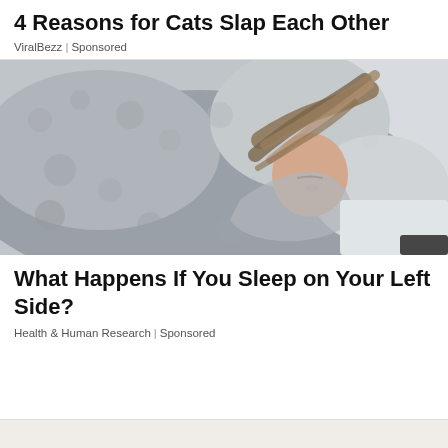4 Reasons for Cats Slap Each Other
ViralBezz | Sponsored
[Figure (photo): A person sleeping wrapped tightly in a grey patterned blanket/duvet, with long blonde hair spread across the pillow, eyes closed, peaceful expression]
What Happens If You Sleep on Your Left Side?
Health & Human Research | Sponsored